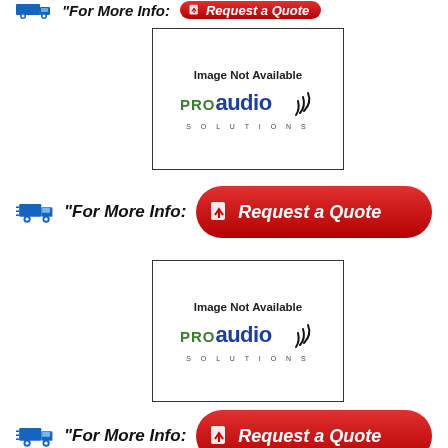[Figure (screenshot): Partial top bar showing truck icon, 'For More Info:' text, and red 'Request a Quote' button (cropped at top of page)]
[Figure (logo): Image Not Available placeholder with PRO audio SOLUTIONS logo inside a bordered box]
[Figure (infographic): Truck icon followed by '"For More Info:' text and a red rounded 'Request a Quote' button]
[Figure (logo): Image Not Available placeholder with PRO audio SOLUTIONS logo inside a bordered box]
[Figure (infographic): Truck icon followed by '"For More Info:' text and a red rounded 'Request a Quote' button]